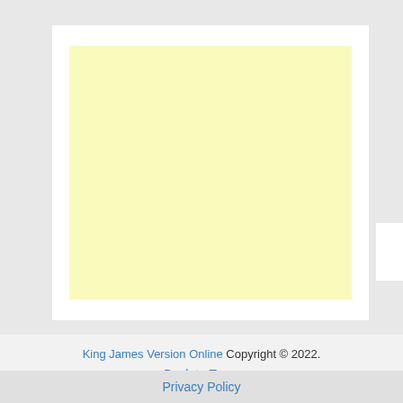[Figure (other): Advertisement placeholder block with light yellow background inside a white container]
King James Version Online Copyright © 2022.
Back to Top ↑
Privacy Policy